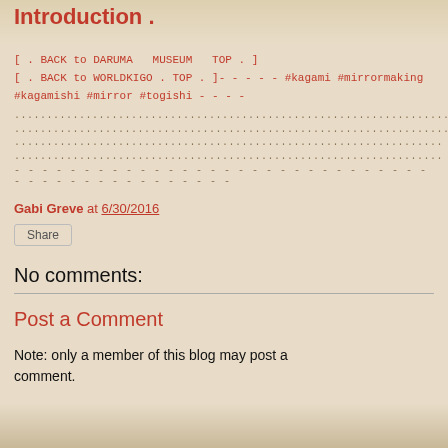Introduction .
[ . BACK to DARUMA   MUSEUM   TOP . ]
[ . BACK to WORLDKIGO . TOP . ]- - - - - #kagami #mirrormaking #kagamishi #mirror #togishi - - - -
................................................................................
................................................................................
...................................................................
...................................................................
- - - - - - - - - - - - - - - - - - - - - - - - - - - - - - - - - - - - - -
Gabi Greve at 6/30/2016
Share
No comments:
Post a Comment
Note: only a member of this blog may post a comment.